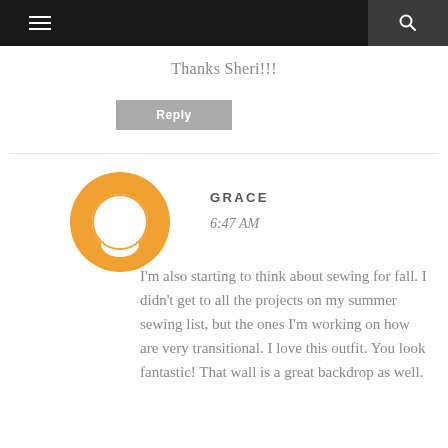☰  🔍
Thanks Sheri!!!
Reply
GRACE
6:47 AM
I'm also starting to think about sewing for fall. I didn't get to all the projects on my summer sewing list, but the ones I'm working on how are very transitional. I love this outfit. You look fantastic! That wall is a great backdrop as well.